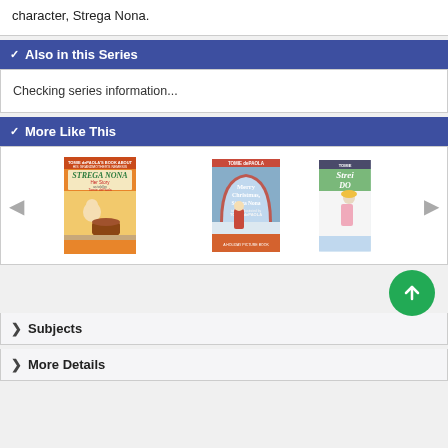character, Strega Nona.
Also in this Series
Checking series information...
More Like This
[Figure (illustration): Carousel of three book covers: 'Strega Nona Her Story as told by Tomie dePaola', 'Merry Christmas, Strega Nona told and illustrated by TOMIE dePAOLA', and a partially visible third book 'Strega Does Again' by Tomie.]
Subjects
More Details